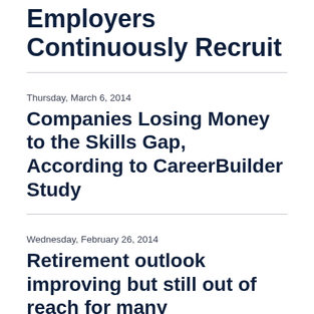Employers Continuously Recruit
Thursday, March 6, 2014
Companies Losing Money to the Skills Gap, According to CareerBuilder Study
Wednesday, February 26, 2014
Retirement outlook improving but still out of reach for many